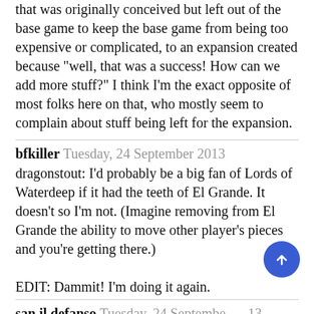that was originally conceived but left out of the base game to keep the base game from being too expensive or complicated, to an expansion created because "well, that was a success! How can we add more stuff?" I think I'm the exact opposite of most folks here on that, who mostly seem to complain about stuff being left for the expansion.
bfkiller Tuesday, 24 September 2013
dragonstout: I'd probably be a big fan of Lords of Waterdeep if it had the teeth of El Grande. It doesn't so I'm not. (Imagine removing from El Grande the ability to move other player's pieces and you're getting there.)

EDIT: Dammit! I'm doing it again.
san il defanso Tuesday, 24 September 2013
Don't misread me, I don't think that Lords of Waterdeep is merely "pleasant but forgettable."